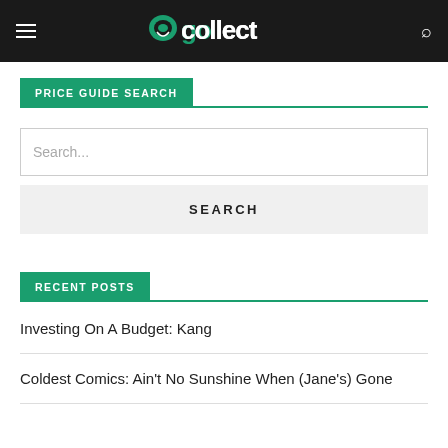gocollect
PRICE GUIDE SEARCH
Search...
SEARCH
RECENT POSTS
Investing On A Budget: Kang
Coldest Comics: Ain't No Sunshine When (Jane's) Gone